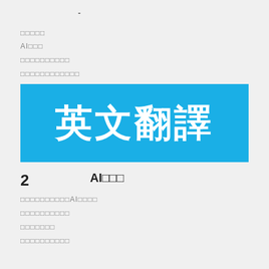-
□□□□□
AI□□□
□□□□□□□□□□
□□□□□□□□□□□□
[Figure (illustration): Blue banner with large white Chinese characters reading 英文翻譯 (English Translation)]
2　　　　　AI□□□
□□□□□□□□□□AI□□□□
□□□□□□□□□□
□□□□□□□
□□□□□□□□□□